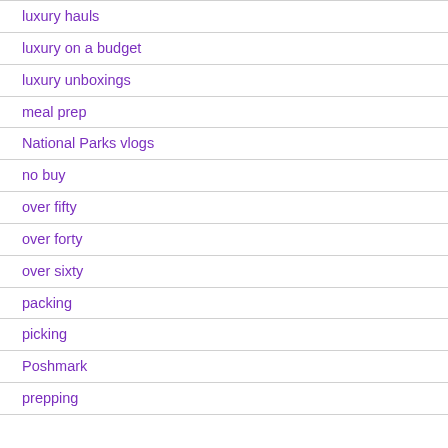luxury hauls
luxury on a budget
luxury unboxings
meal prep
National Parks vlogs
no buy
over fifty
over forty
over sixty
packing
picking
Poshmark
prepping